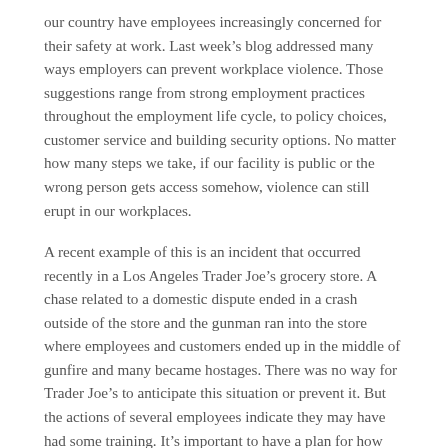our country have employees increasingly concerned for their safety at work. Last week's blog addressed many ways employers can prevent workplace violence. Those suggestions range from strong employment practices throughout the employment life cycle, to policy choices, customer service and building security options. No matter how many steps we take, if our facility is public or the wrong person gets access somehow, violence can still erupt in our workplaces.
A recent example of this is an incident that occurred recently in a Los Angeles Trader Joe's grocery store. A chase related to a domestic dispute ended in a crash outside of the store and the gunman ran into the store where employees and customers ended up in the middle of gunfire and many became hostages. There was no way for Trader Joe's to anticipate this situation or prevent it. But the actions of several employees indicate they may have had some training. It's important to have a plan for how management and employees should react to such an